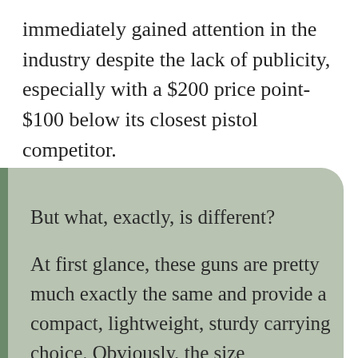immediately gained attention in the industry despite the lack of publicity, especially with a $200 price point- $100 below its closest pistol competitor.
But what, exactly, is different?

At first glance, these guns are pretty much exactly the same and provide a compact, lightweight, sturdy carrying choice. Obviously, the size comparison is almost non-